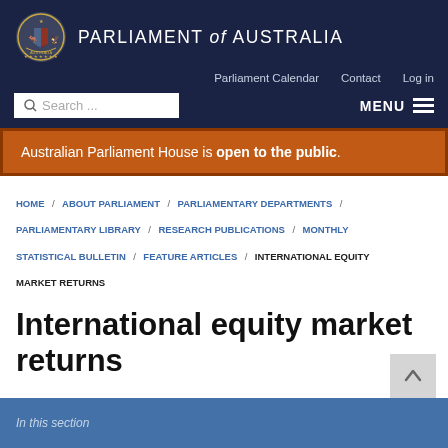PARLIAMENT of AUSTRALIA
Parliament Calendar   Contact   Log in
Search ...   MENU
Australian Parliament House is open to the public.
HOME / ABOUT PARLIAMENT / PARLIAMENTARY DEPARTMENTS / PARLIAMENTARY LIBRARY / RESEARCH PUBLICATIONS / MONTHLY STATISTICAL BULLETIN / FEATURE ARTICLES / INTERNATIONAL EQUITY MARKET RETURNS
International equity market returns
In this section